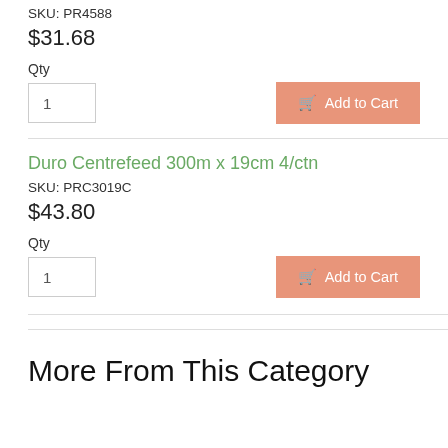SKU: PR4588
$31.68
Qty
Add to Cart
Duro Centrefeed 300m x 19cm 4/ctn
SKU: PRC3019C
$43.80
Qty
Add to Cart
More From This Category